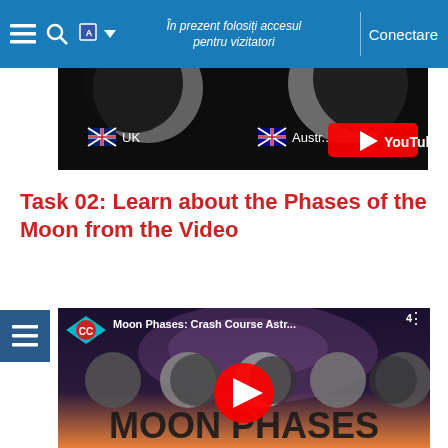În prezent folosiți accesul pentru vizitatori | Conectare
[Figure (screenshot): Partially visible YouTube video thumbnail showing moon phases with UK and Australia flags]
Task 02: Learn about the Phases of the Moon from the Video
[Figure (screenshot): YouTube video thumbnail: Moon Phases: Crash Course Astr... with Crash Course CC logo and play button, showing MOON PHASES text]